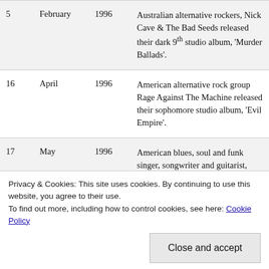| Day | Month | Year | Description |
| --- | --- | --- | --- |
| 5 | February | 1996 | Australian alternative rockers, Nick Cave & The Bad Seeds released their dark 9th studio album, 'Murder Ballads'. |
| 16 | April | 1996 | American alternative rock group Rage Against The Machine released their sophomore studio album, 'Evil Empire'. |
| 17 | May | 1996 | American blues, soul and funk singer, songwriter and guitarist, Johnny 'Guitar' Watson died of a heart attack after collapsing on stage in Yokohama, Japan at Beverley Hills, California, at the |
Privacy & Cookies: This site uses cookies. By continuing to use this website, you agree to their use. To find out more, including how to control cookies, see here: Cookie Policy